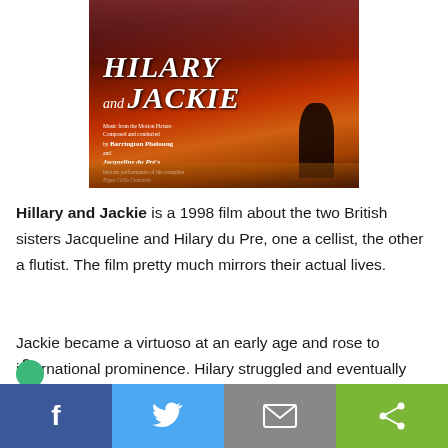[Figure (photo): Movie soundtrack/poster for 'Hilary and Jackie' (1998), showing two women's faces with red-toned cinematic background. Text on poster: 'HILARY and JACKIE - Music from the Motion Picture Composed and conducted by Barrington Pheloung and Jacqueline du Pré's historic performance of the complete Elgar Cello Concerto']
Hillary and Jackie is a 1998 film about the two British sisters Jacqueline and Hilary du Pre, one a cellist, the other a flutist. The film pretty much mirrors their actual lives.
Jackie became a virtuoso at an early age and rose to international prominence. Hilary struggled and eventually gave up performing to become a wife and mother.